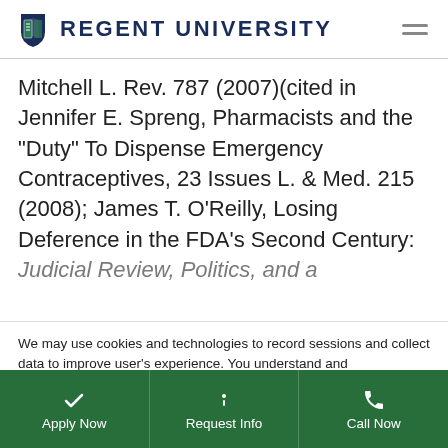Regent University
Mitchell L. Rev. 787 (2007)(cited in Jennifer E. Spreng, Pharmacists and the "Duty" To Dispense Emergency Contraceptives, 23 Issues L. & Med. 215 (2008); James T. O'Reilly, Losing Deference in the FDA's Second Century: Judicial Review, Politics, and a
We may use cookies and technologies to record sessions and collect data to improve user's experience. You understand and agree to our Privacy Policy.
Apply Now | Request Info | Call Now